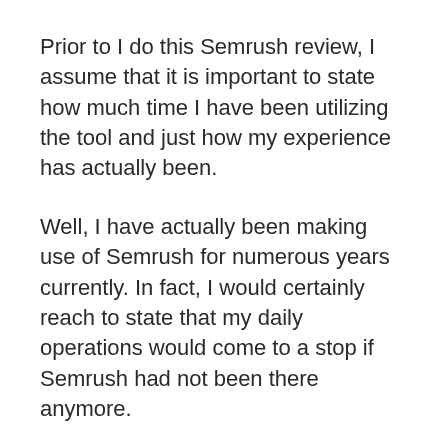Prior to I do this Semrush review, I assume that it is important to state how much time I have been utilizing the tool and just how my experience has actually been.
Well, I have actually been making use of Semrush for numerous years currently. In fact, I would certainly reach to state that my daily operations would come to a stop if Semrush had not been there anymore.
My group and also I use Semrush on a daily basis to locate keyword phrases, obtain content suggestions, track my internet site's performance, check my competitors, as well as much more.